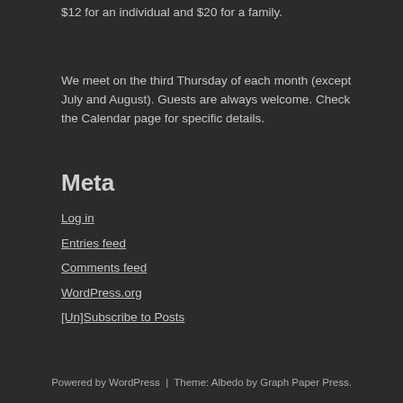$12 for an individual and $20 for a family.
We meet on the third Thursday of each month (except July and August). Guests are always welcome. Check the Calendar page for specific details.
Meta
Log in
Entries feed
Comments feed
WordPress.org
[Un]Subscribe to Posts
Powered by WordPress  |  Theme: Albedo by Graph Paper Press.